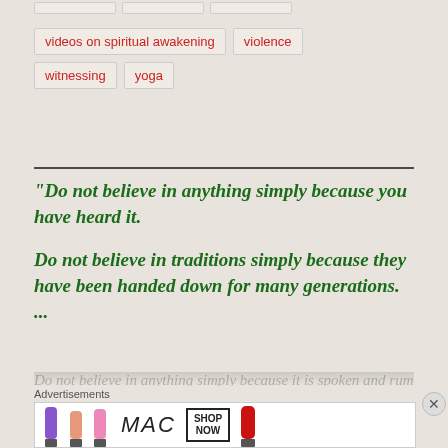[tag: videos on spiritual awakening]
[tag: violence]
[tag: witnessing]
[tag: yoga]
"Do not believe in anything simply because you have heard it.

Do not believe in traditions simply because they have been handed down for many generations. ...
Advertisements
[Figure (photo): MAC cosmetics advertisement showing lipsticks with SHOP NOW button]